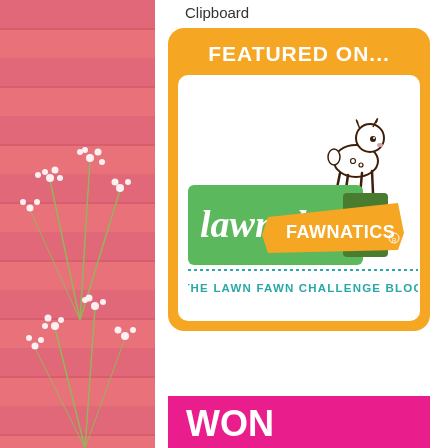Clipboard
[Figure (logo): Lawn Fawn Fawnatics featured badge - orange rounded rectangle with 'FEATURED ON...' header, white interior with Lawn Fawn Fawnatics logo (green rectangle with cursive 'lawn' text, orange banner with 'FAWNATICS', small deer illustration), dotted teal line, 'THE LAWN FAWN CHALLENGE BLOG' text]
Art Impressions “Movers and Shakers” Top Spot
[Figure (logo): Magenta/pink logo banner at bottom, partially visible, appears to be 'WON' or similar text in white on magenta background]